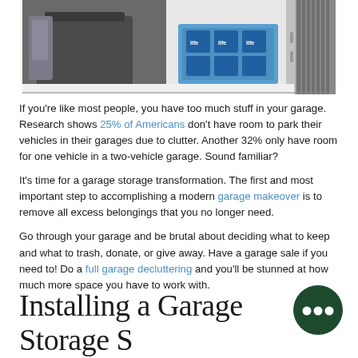[Figure (photo): Photo of a garage cabinet opened, showing a trash can and a case of water bottles inside a white storage unit, with gray wood-panel garage door visible on the right.]
If you're like most people, you have too much stuff in your garage. Research shows 25% of Americans don't have room to park their vehicles in their garages due to clutter. Another 32% only have room for one vehicle in a two-vehicle garage. Sound familiar?
It's time for a garage storage transformation. The first and most important step to accomplishing a modern garage makeover is to remove all excess belongings that you no longer need.
Go through your garage and be brutal about deciding what to keep and what to trash, donate, or give away. Have a garage sale if you need to! Do a full garage decluttering and you'll be stunned at how much more space you have to work with.
Installing a Garage Storage System